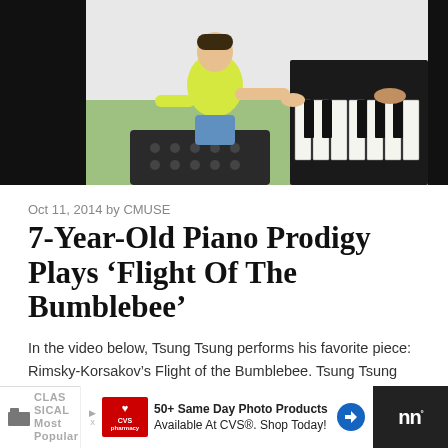[Figure (photo): A young child in a yellow t-shirt and denim shorts sitting at a black piano, playing with both hands. The background is light green/white. The image is framed with black bars on the sides.]
Oct 11, 2014 by CMUSE
7-Year-Old Piano Prodigy Plays ‘Flight Of The Bumblebee’
In the video below, Tsung Tsung performs his favorite piece: Rimsky-Korsakov’s Flight of the Bumblebee. Tsung Tsung started playing piano at just three years of … Read more
CLASSICAL  Most Popular
50+ Same Day Photo Products Available At CVS®. Shop Today!